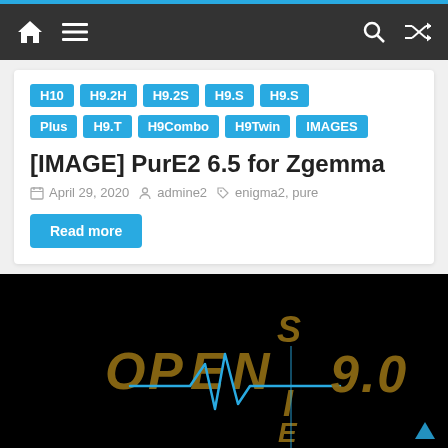Navigation bar with home, menu, search, and shuffle icons
H10
H9.2H
H9.2S
H9.S
H9.S
Plus
H9.T
H9Combo
H9Twin
IMAGES
[IMAGE] PurE2 6.5 for Zgemma
April 29, 2020  admine2  enigma2, pure
Read more
[Figure (screenshot): OpenSIE 9.0 logo on black background — stylized metallic letters spelling OPEN with an electrocardiogram-style blue line and letters S, I, E arranged vertically, and '9.0' on the right]